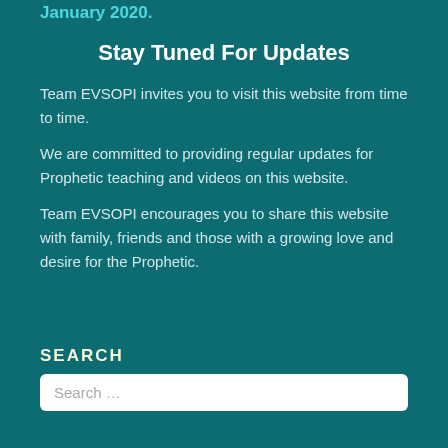January 2020.
Stay Tuned For Updates
Team EVSOPI invites you to visit this website from time to time.
We are committed to providing regular updates for Prophetic teaching and videos on this website.
Team EVSOPI encourages you to share this website with family, friends and those with a growing love and desire for the Prophetic.
SEARCH
Search …